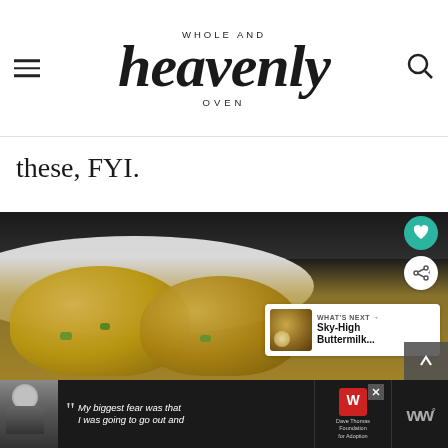WHOLE AND heavenly OVEN
these, FYI.
[Figure (photo): Close-up photo of baked egg muffins or mini frittatas with green vegetables and cheese on a white dish, with UI overlay buttons (heart/save, share) and a What's Next card showing Sky-High Buttermilk...]
WHAT'S NEXT → Sky-High Buttermilk...
[Figure (screenshot): Advertisement bar at bottom: person in winter hat, quote 'My biggest fear was that I was going to go out and', Dave Thomas Foundation for Adoption logo, WW logo]